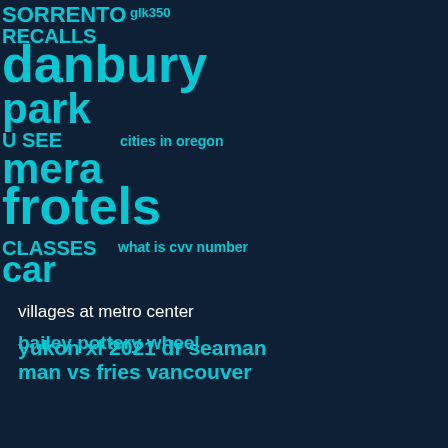[Figure (infographic): Dark navy background word cloud / search term collage with cyan and white text words overlapping at various sizes, overlaid with large white bold text reading MONTHLY RATE 2022 HOTELS]
villages at metro center
yukon xl 2021 dr seaman man vs fries vancouver
bailey pottery wheel